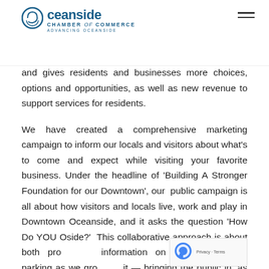Oceanside Chamber of Commerce - Advancing Oceanside
and gives residents and businesses more choices, options and opportunities, as well as new revenue to support services for residents.
We have created a comprehensive marketing campaign to inform our locals and visitors about what's to come and expect while visiting your favorite business. Under the headline of 'Building A Stronger Foundation for our Downtown', our public campaign is all about how visitors and locals live, work and play in Downtown Oceanside, and it asks the question 'How Do YOU Oside?' This collaborative approach is about both providing information on construction and parking as we grow it — bringing the public in, as we do to ensure site...